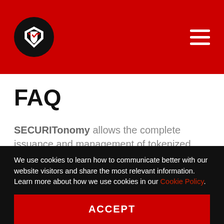[Figure (logo): SECURITonomy logo: black circle with white shield/arrow icon on red header background]
FAQ
SECURITonomy allows the complete issuance and management of tokenized securities and is based in Malta, one of the industry's most progressive jurisdictions.
We use cookies to learn how to communicate better with our website visitors and share the most relevant information. Learn more about how we use cookies in our Cookie Policy.
ACCEPT